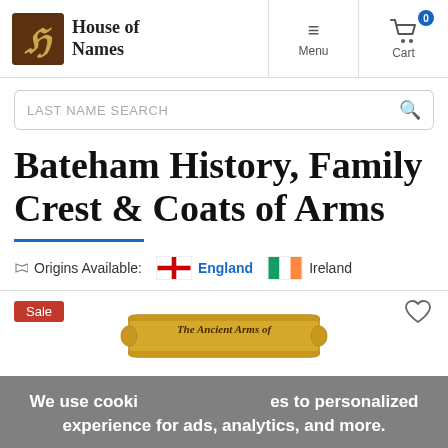House of Names — Menu | Cart (0)
LAST NAME SEARCH
Bateham History, Family Crest & Coats of Arms
Origins Available: England | Ireland
Sale
[Figure (illustration): Scroll banner reading 'The Ancient Arms of']
We use cookies to personalized experience for ads, analytics, and more.